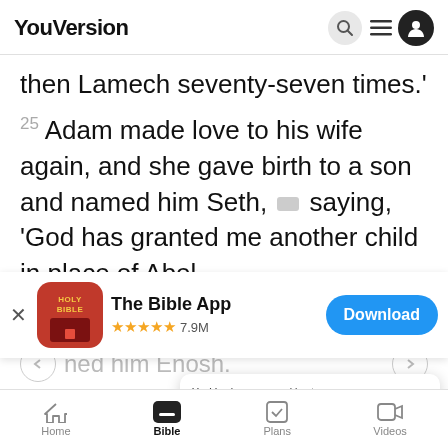YouVersion
then Lamech seventy-seven times.'
25 Adam made love to his wife again, and she gave birth to a son and named him Seth, saying, 'God has granted me another child in place of Abel
[Figure (screenshot): App store banner for The Bible App (YouVersion) with Holy Bible icon, 5 star rating, 7.9M reviews, and Download button]
ned him Enosh.
At tha
of the L
YouVersion uses cookies to personalize your experience. By using our website, you accept our use of cookies as described in our Privacy Policy.
Home | Bible | Plans | Videos